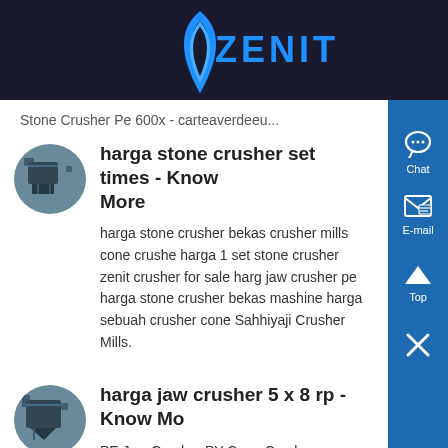ZENIT
Stone Crusher Pe 600x - carteaverdeeu...
harga stone crusher set times - Know More
harga stone crusher bekas crusher mills cone crusher harga 1 set stone crusher zenit crusher for sale harg jaw crusher pe harga stone crusher bekas mashine harga sebuah crusher cone Sahhiyaji Crusher Mills.
harga jaw crusher 5 x 8 rp - Know More
PE Jaw Crusher PY Cone Crusher Vibrating Feeder harga jaw crusher 5 x 8 rp 2 indonetwork co id rock crushing machine design pdf crusher, jaw hammer ,design and manufacture,pdf stone crusher design ,